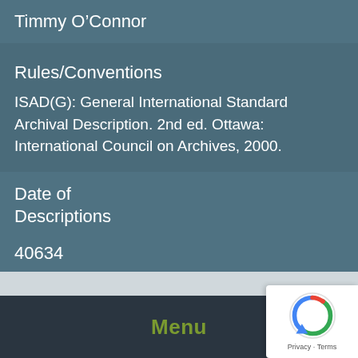Timmy O'Connor
Rules/Conventions
ISAD(G): General International Standard Archival Description. 2nd ed. Ottawa: International Council on Archives, 2000.
Date of Descriptions
40634
Menu